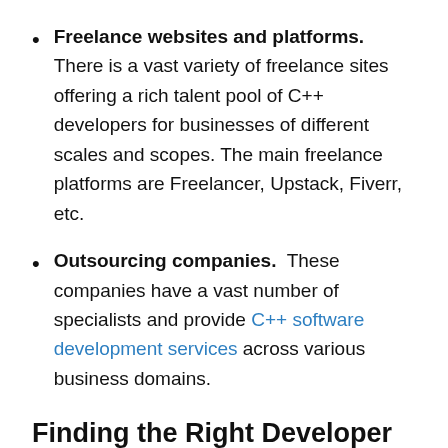Freelance websites and platforms. There is a vast variety of freelance sites offering a rich talent pool of C++ developers for businesses of different scales and scopes. The main freelance platforms are Freelancer, Upstack, Fiverr, etc.
Outsourcing companies. These companies have a vast number of specialists and provide C++ software development services across various business domains.
Finding the Right Developer For Your Company
To find the most suitable C++ developer for your business you need to analyze the candidate's